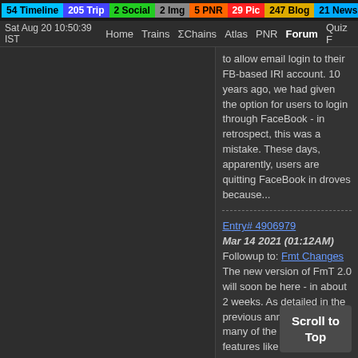54 Timeline 205 Trip 2 Social 2 Img 5 PNR 29 Pic 247 Blog 21 News
Sat Aug 20 10:50:39 IST  Home  Trains  ΣChains  Atlas  PNR  Forum  Quiz F
to allow email login to their FB-based IRI account. 10 years ago, we had given the option for users to login through FaceBook - in retrospect, this was a mistake. These days, apparently, users are quitting FaceBook in droves because...
Entry# 4906979
Mar 14 2021 (01:12AM)

Followup to: Fmt Changes The new version of FmT 2.0 will soon be here - in about 2 weeks. As detailed in the previous announcement, many of the old FmT features like Train TT, Speedometer Gps Location, etc REMOVED. I bare-bones